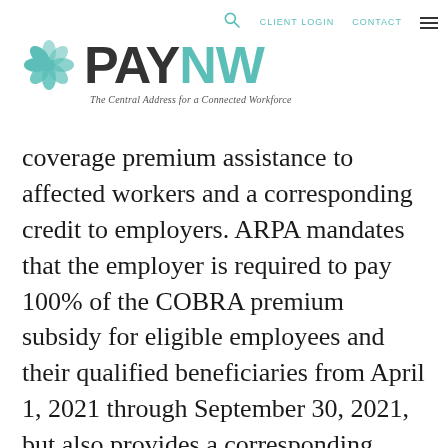PAYNW — The Central Address for a Connected Workforce — CLIENT LOGIN | CONTACT
coverage premium assistance to affected workers and a corresponding credit to employers. ARPA mandates that the employer is required to pay 100% of the COBRA premium subsidy for eligible employees and their qualified beneficiaries from April 1, 2021 through September 30, 2021, but also provides a corresponding payroll tax credit reimbursement to the employer on the